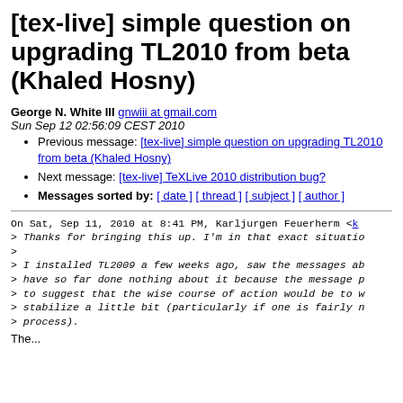[tex-live] simple question on upgrading TL2010 from beta (Khaled Hosny)
George N. White III  gnwiii at gmail.com
Sun Sep 12 02:56:09 CEST 2010
Previous message: [tex-live] simple question on upgrading TL2010 from beta (Khaled Hosny)
Next message: [tex-live] TeXLive 2010 distribution bug?
Messages sorted by: [ date ] [ thread ] [ subject ] [ author ]
On Sat, Sep 11, 2010 at 8:41 PM, Karljurgen Feuerherm <k
> Thanks for bringing this up. I'm in that exact situatio
>
> I installed TL2009 a few weeks ago, saw the messages ab
> have so far done nothing about it because the message p
> to suggest that the wise course of action would be to w
> stabilize a little bit (particularly if one is fairly n
> process).
The...